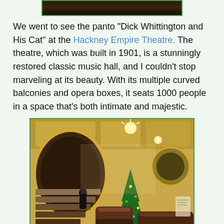[Figure (photo): Partial top of a dark interior photograph, cropped at top of page]
We went to see the panto "Dick Whittington and His Cat" at the Hackney Empire Theatre. The theatre, which was built in 1901, is a stunningly restored classic music hall, and I couldn't stop marveling at its beauty. With its multiple curved balconies and opera boxes, it seats 1000 people in a space that's both intimate and majestic.
[Figure (photo): Interior photo of the theatre lobby showing ornate golden walls, arched corridors, a staircase, chandeliers, and a Christmas tree with theatre seats in the foreground]
Theatre lobby
Pantos also have a long tradition of including transvestism as a convention of the performance. The young male hero is